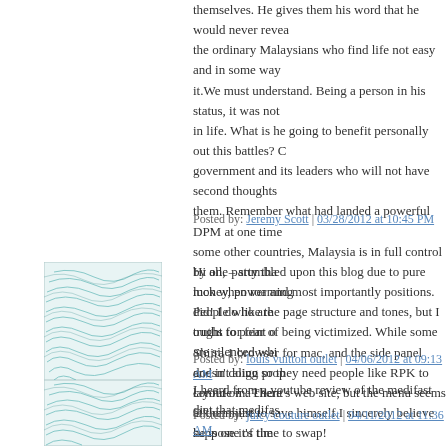themselves. He gives them his word that he would never reveal the ordinary Malaysians who find life not easy and in some way it.We must understand. Being a person in his status, it was not in life. What is he going to benefit personally out this battles? C government and its leaders who will not have second thoughts them. Remember what had landed a powerful DPM at one time some other countries, Malaysia is in full control by one party tha money, power and most importantly positions. People who are truths for fear of being victimized. While some are silenced whi and in doing so they need people like RPK to confide in. There at them just to save himself.I sincerely believe he is one of the life for the sake of country and the people of Malaysia. He is ac Throats try to fix or trap him with untruthful stories that could je
Posted by: Jeremy Scott | 03/28/2012 at 10:45 PM
[Figure (photo): Avatar image with teal/green geometric pattern]
Hi all, – stumbled upon this blog due to pure luck when roaming did! I do like the page structure and tones, but I ought to point o Shiira 1 browser for mac, and the side panel doesn't align prop layout on a client's web site, but the menu seems Ok on mine. suppose it's time to swap!
Posted by: louis vuitton outlet | 04/06/2012 at 09:13 AM
[Figure (photo): Avatar image with teal/green geometric pattern]
I heard from a youtube review of the medifast diet that medifas
Posted by: juicy couture outlet | 04/11/2012 at 11:36 AM